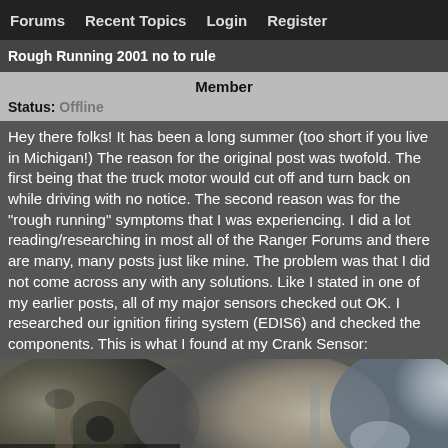Forums   Recent Topics   Login   Register
Rough Running 2001 no to rule
Member
Status:  Offline
Hey there folks! It has been a long summer (too short if you live in Michigan!) The reason for the original post was twofold. The first being that the truck motor would cut off and turn back on while driving with no notice. The second reason was for the "rough running" symptoms that I was experiencing. I did a lot reading/researching in most all of the Ranger Forums and there are many, many posts just like mine. The problem was that I did not come across any with any solutions. Like I stated in one of my earlier posts, all of my major sensors checked out OK. I researched our ignition firing system (EDIS6) and checked the components. This is what I found at my Crank Sensor:
[Figure (photo): Close-up photo of a dirty/corroded crank sensor component on a vehicle engine]